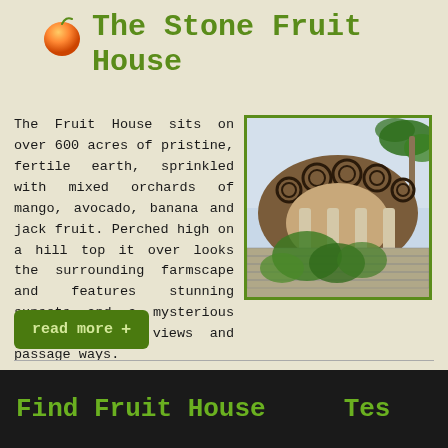The Stone Fruit House
The Fruit House sits on over 600 acres of pristine, fertile earth, sprinkled with mixed orchards of mango, avocado, banana and jack fruit. Perched high on a hill top it over looks the surrounding farmscape and features stunning sunsets and a mysterious mix of rooms, views and passage ways.
[Figure (photo): A stone building with a decorative arched entrance featuring circular mosaic patterns, stone columns, a stone wall base with vegetation, and palm trees visible in the background.]
read more +
Find Fruit House   Tes